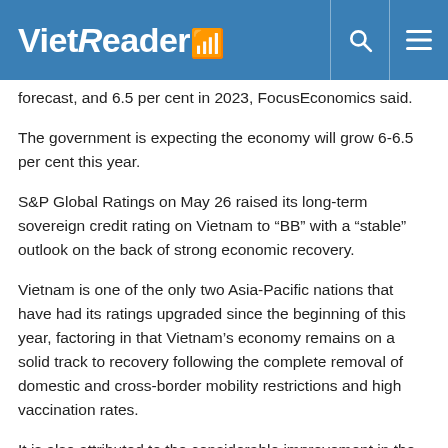VietReader
forecast, and 6.5 per cent in 2023, FocusEconomics said.
The government is expecting the economy will grow 6-6.5 per cent this year.
S&P Global Ratings on May 26 raised its long-term sovereign credit rating on Vietnam to “BB” with a “stable” outlook on the back of strong economic recovery.
Vietnam is one of the only two Asia-Pacific nations that have had its ratings upgraded since the beginning of this year, factoring in that Vietnam’s economy remains on a solid track to recovery following the complete removal of domestic and cross-border mobility restrictions and high vaccination rates.
It is also attributed to the considerable improvement in the government’s public administrative procedures, especially